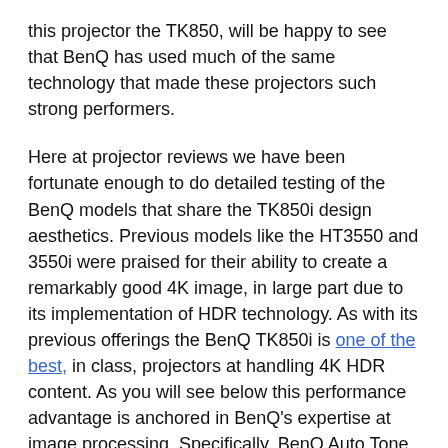this projector the TK850, will be happy to see that BenQ has used much of the same technology that made these projectors such strong performers.
Here at projector reviews we have been fortunate enough to do detailed testing of the BenQ models that share the TK850i design aesthetics. Previous models like the HT3550 and 3550i were praised for their ability to create a remarkably good 4K image, in large part due to its implementation of HDR technology. As with its previous offerings the BenQ TK850i is one of the best, in class, projectors at handling 4K HDR content. As you will see below this performance advantage is anchored in BenQ's expertise at image processing. Specifically, BenQ Auto Tone Mapping and Color Mapping technologies combined with BenQ's Dynamic Iris technology give this projector the ability to improve image quality in almost any HDR content displayed.
With the TK850i BenQ has managed to increase the projectors